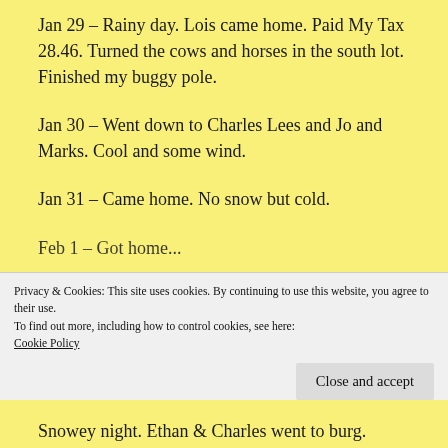Jan 29 – Rainy day. Lois came home. Paid My Tax 28.46. Turned the cows and horses in the south lot. Finished my buggy pole.
Jan 30 – Went down to Charles Lees and Jo and Marks. Cool and some wind.
Jan 31 – Came home. No snow but cold.
Feb 1 – Got home... (partially visible)
Privacy & Cookies: This site uses cookies. By continuing to use this website, you agree to their use.
To find out more, including how to control cookies, see here:
Cookie Policy
Snowey night. Ethan & Charles went to burg.